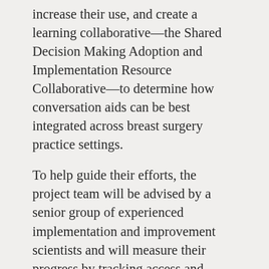increase their use, and create a learning collaborative—the Shared Decision Making Adoption and Implementation Resource Collaborative—to determine how conversation aids can be best integrated across breast surgery practice settings.
To help guide their efforts, the project team will be advised by a senior group of experienced implementation and improvement scientists and will measure their progress by tracking access and usage of the aids as well as patient outcomes through online surveys given to samples of women.
“We’re working with the American Society